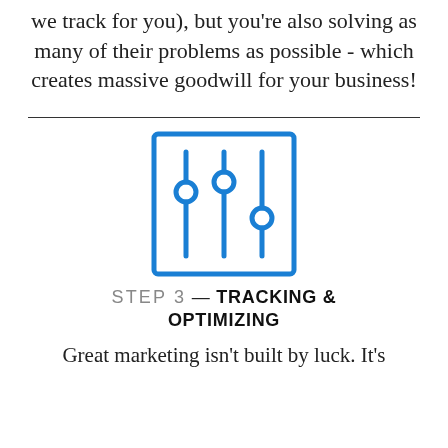we track for you), but you're also solving as many of their problems as possible - which creates massive goodwill for your business!
[Figure (illustration): Blue square icon containing three vertical slider/equalizer controls with circular handles, representing tracking and optimizing settings.]
STEP 3 — TRACKING & OPTIMIZING
Great marketing isn't built by luck. It's